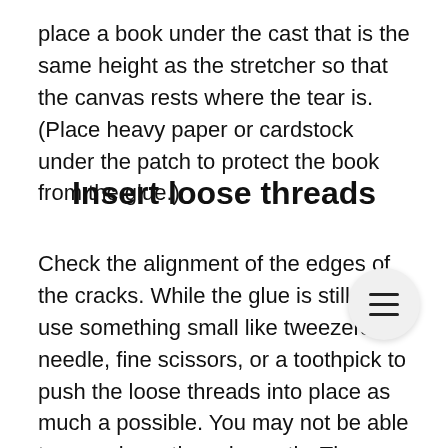place a book under the cast that is the same height as the stretcher so that the canvas rests where the tear is. (Place heavy paper or cardstock under the patch to protect the book from the glue.)
Insert loose threads
Check the alignment of the edges of the cracks. While the glue is still wet, use something small like tweezers, a needle, fine scissors, or a toothpick to push the loose threads into place as much as possible. You may not be able to organize all threads neatly. The ones you can cut out when the glue has dried. Avoid sticking the glue to the front of the canvas. Place a piece of paper or a thin card on